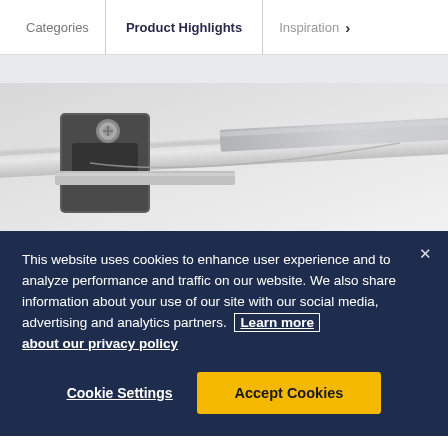Categories | Product Highlights | Inspiration >
[Figure (photo): Close-up photo of metal hardware, showing a window or door locking mechanism with steel components and a bolt.]
This website uses cookies to enhance user experience and to analyze performance and traffic on our website. We also share information about your use of our site with our social media, advertising and analytics partners. Learn more about our privacy policy
Cookie Settings
Accept Cookies